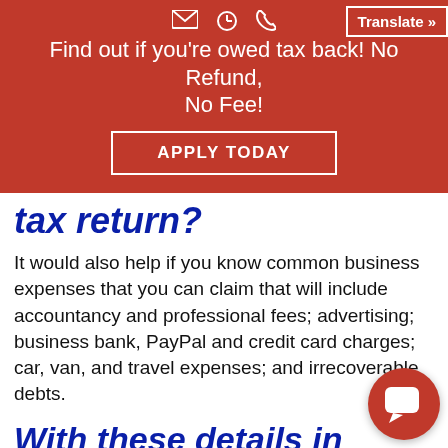Find out if you're owed tax back! No Refund, No Fee!
tax return?
It would also help if you know common business expenses that you can claim that will include accountancy and professional fees; advertising; business bank, PayPal and credit card charges; car, van, and travel expenses; and irrecoverable debts.
With these details in mind, it is time to get down to the nitty gritty about how to calculate your business income...